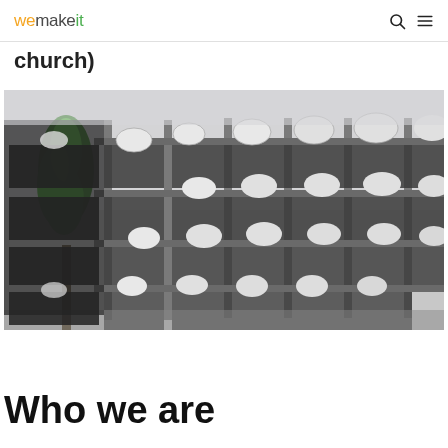wemakeit
church)
[Figure (photo): Photo of an abandoned industrial or brutalist building with concrete frame structure, multiple floors visible, featuring numerous white geodesic dome shapes within the lattice-like framework. A single tall green tree stands in the foreground on the left side. The sky is overcast grey.]
Who we are